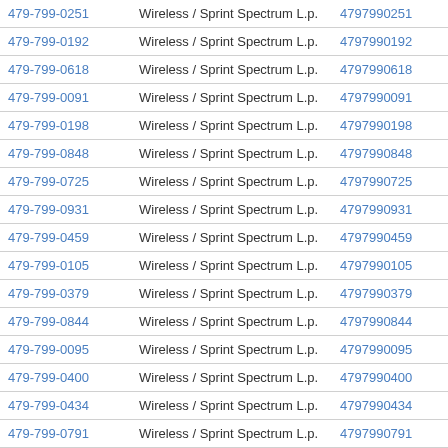| Phone | Carrier | Number | Action |
| --- | --- | --- | --- |
| 479-799-0251 | Wireless / Sprint Spectrum L.p. | 4797990251 | View |
| 479-799-0192 | Wireless / Sprint Spectrum L.p. | 4797990192 | View |
| 479-799-0618 | Wireless / Sprint Spectrum L.p. | 4797990618 | View |
| 479-799-0091 | Wireless / Sprint Spectrum L.p. | 4797990091 | View |
| 479-799-0198 | Wireless / Sprint Spectrum L.p. | 4797990198 | View |
| 479-799-0848 | Wireless / Sprint Spectrum L.p. | 4797990848 | View |
| 479-799-0725 | Wireless / Sprint Spectrum L.p. | 4797990725 | View |
| 479-799-0931 | Wireless / Sprint Spectrum L.p. | 4797990931 | View |
| 479-799-0459 | Wireless / Sprint Spectrum L.p. | 4797990459 | View |
| 479-799-0105 | Wireless / Sprint Spectrum L.p. | 4797990105 | View |
| 479-799-0379 | Wireless / Sprint Spectrum L.p. | 4797990379 | View |
| 479-799-0844 | Wireless / Sprint Spectrum L.p. | 4797990844 | View |
| 479-799-0095 | Wireless / Sprint Spectrum L.p. | 4797990095 | View |
| 479-799-0400 | Wireless / Sprint Spectrum L.p. | 4797990400 | View |
| 479-799-0434 | Wireless / Sprint Spectrum L.p. | 4797990434 | View |
| 479-799-0791 | Wireless / Sprint Spectrum L.p. | 4797990791 | View |
| 479-799-0738 | Wireless / Sprint Spectrum L.p. | 4797990738 | View |
| 479-799-0735 | Wireless / Sprint Spectrum L.p. | 4797990735 | View |